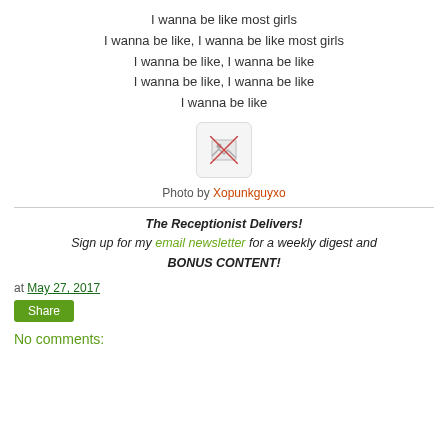I wanna be like most girls
I wanna be like, I wanna be like most girls
I wanna be like, I wanna be like
I wanna be like, I wanna be like
I wanna be like
[Figure (photo): Broken image placeholder with a small thumbnail icon]
Photo by Xopunkguyxo
The Receptionist Delivers!
Sign up for my email newsletter for a weekly digest and BONUS CONTENT!
at May 27, 2017
Share
No comments: